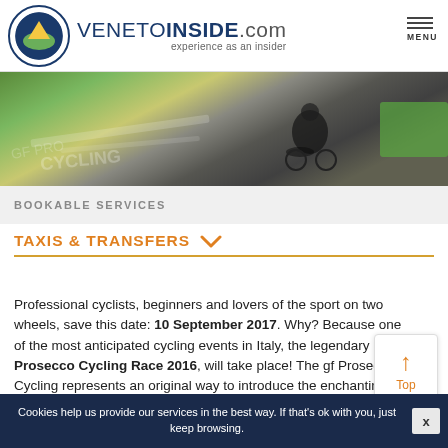VENETOINSIDE.com experience as an insider | MENU
[Figure (photo): Cyclists racing on a road with cycling markings painted on the pavement, green and dark tones]
BOOKABLE SERVICES
TAXIS & TRANSFERS
Professional cyclists, beginners and lovers of the sport on two wheels, save this date: 10 September 2017. Why? Because one of the most anticipated cycling events in Italy, the legendary Prosecco Cycling Race 2016, will take place! The gf Prosecco Cycling represents an original way to introduce the enchanting territory of Treviso, renowned for its beautiful vineyards and production of Prosecco.
Due to its charm, the whole area of hilly foothills between Conegliano and Valdobbiadene is a candidate to become a
Cookies help us provide our services in the best way. If that's ok with you, just keep browsing.